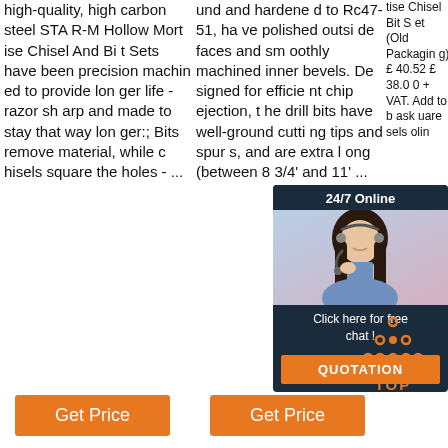high-quality, high carbon steel STAR-M Hollow Mortise Chisel And Bit Sets have been precision machined to provide longer life - razor sharp and made to stay that way longer:; Bits remove material, while chisels square the holes - ...
und and hardened to Rc47-51, have polished outside faces and smoothly machined inner bevels. Designed for efficient chip ejection, the drill bits have well-ground cutting tips and spurs, and are extra long (between 8 3/4' and 11' ...
tise Chisel Bit Set (Old Packaging) £ 40.52 £ 38.00 + VAT. Add to basket uard sels olin
[Figure (screenshot): 24/7 online chat widget with customer service agent photo, 'Click here for free chat!' text, and orange QUOTATION button]
[Figure (other): Orange dotted triangle TOP icon with orange text 'TOP']
Get Price
Get Price